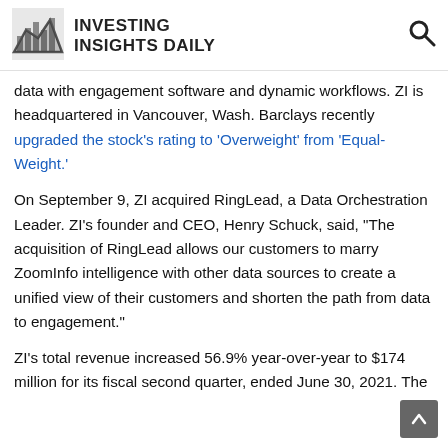INVESTING INSIGHTS DAILY
data with engagement software and dynamic workflows. ZI is headquartered in Vancouver, Wash. Barclays recently upgraded the stock's rating to ‘Overweight’ from ‘Equal-Weight.’
On September 9, ZI acquired RingLead, a Data Orchestration Leader. ZI’s founder and CEO, Henry Schuck, said, “The acquisition of RingLead allows our customers to marry ZoomInfo intelligence with other data sources to create a unified view of their customers and shorten the path from data to engagement.”
ZI’s total revenue increased 56.9% year-over-year to $174 million for its fiscal second quarter, ended June 30, 2021. The